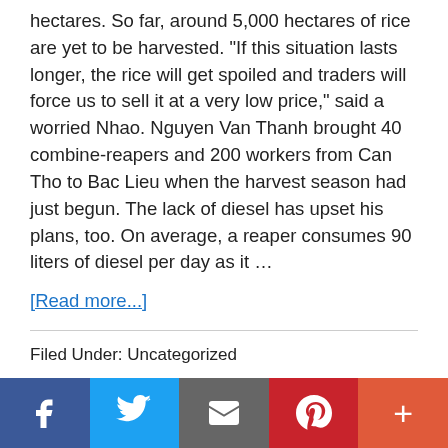hectares. So far, around 5,000 hectares of rice are yet to be harvested. "If this situation lasts longer, the rice will get spoiled and traders will force us to sell it at a very low price," said a worried Nhao. Nguyen Van Thanh brought 40 combine-reapers and 200 workers from Can Tho to Bac Lieu when the harvest season had just begun. The lack of diesel has upset his plans, too. On average, a reaper consumes 90 liters of diesel per day as it …
[Read more...]
Filed Under: Uncategorized
[Figure (other): Social sharing bar with Facebook, Twitter, Email, Pinterest, and More (+) buttons]